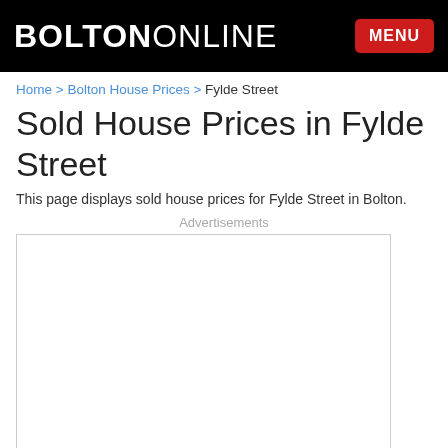BOLTONONLINE
Home > Bolton House Prices > Fylde Street
Sold House Prices in Fylde Street
This page displays sold house prices for Fylde Street in Bolton.
Advertisements
[Figure (other): Advertisement placeholder box, empty white rectangle with light grey border]